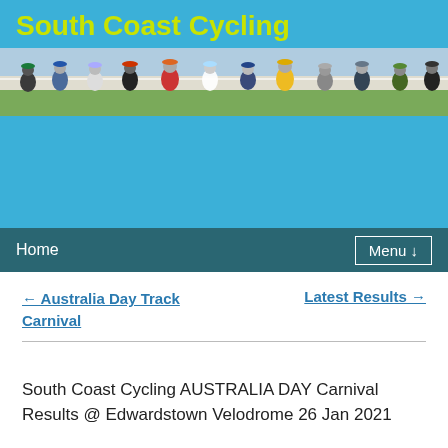South Coast Cycling
[Figure (photo): Group of cyclists wearing helmets standing at a velodrome, with green grass and track in background]
Home   Menu ↓
← Australia Day Track Carnival    Latest Results →
South Coast Cycling AUSTRALIA DAY Carnival Results @ Edwardstown Velodrome 26 Jan 2021
EVENT 3. Senior  A Grade   Heart Starter  ( 6 laps)  –